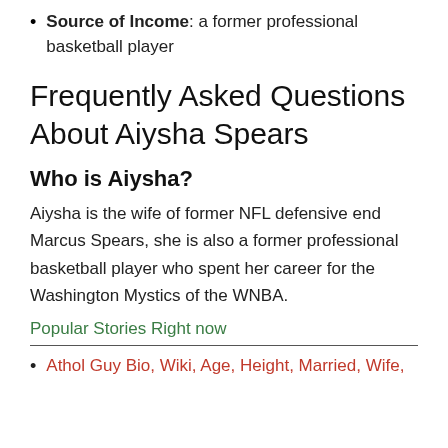Source of Income: a former professional basketball player
Frequently Asked Questions About Aiysha Spears
Who is Aiysha?
Aiysha is the wife of former NFL defensive end Marcus Spears, she is also a former professional basketball player who spent her career for the Washington Mystics of the WNBA.
Popular Stories Right now
Athol Guy Bio, Wiki, Age, Height, Married, Wife,